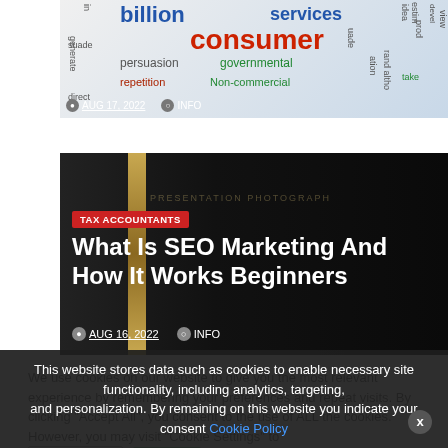[Figure (screenshot): Word cloud image with terms like 'billion', 'services', 'consumer', 'persuasion', 'governmental', 'repetition', 'Non-commercial' in various colors and sizes]
AUG 17, 2022   INFO
[Figure (photo): Dark promotional card showing a gold-striped book spine against a black background. Contains red tag 'TAX ACCOUNTANTS' and white title text 'What Is SEO Marketing And How It Works Beginners']
TAX ACCOUNTANTS
What Is SEO Marketing And How It Works Beginners
AUG 16, 2022   INFO
We use cookies on our website to give you the most relevant experience by remembering your preferences and repeat visits. By clicking "Accept All", you consent to the use of ALL the cookies. However, you may visit "Cookie Settings" to
This website stores data such as cookies to enable necessary site functionality, including analytics, targeting, and personalization. By remaining on this website you indicate your consent Cookie Policy